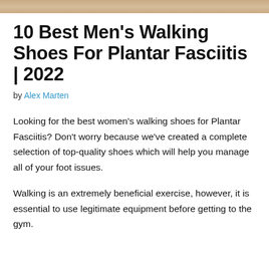[Figure (photo): Decorative banner image at the top of the page with warm beige/tan tones]
10 Best Men’s Walking Shoes For Plantar Fasciitis | 2022
by Alex Marten
Looking for the best women’s walking shoes for Plantar Fasciitis? Don’t worry because we’ve created a complete selection of top-quality shoes which will help you manage all of your foot issues.
Walking is an extremely beneficial exercise, however, it is essential to use legitimate equipment before getting to the gym.